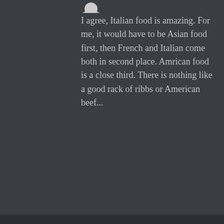[Figure (illustration): Partial gray avatar circle at top of page]
I agree, Italian food is amazing. For me, it would have to be Asian food first, then French and Italian come both in second place. Amrican food is a close third. There is nothing like a good rack of ribbs or American beef...
[Figure (illustration): Gray circular avatar for THEGREATZAMBINI]
THEGREATZAMBINI says: ↩ Reply
January 4, 2014 at 12:04 am
Privacy & Cookies: This site uses cookies. By continuing to use this website, you agree to their use.
To find out more, including how to control cookies, see here: Cookie Policy
Close and accept